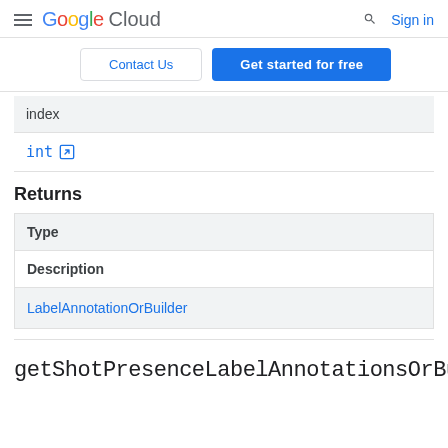Google Cloud  Sign in
Contact Us  Get started for free
| index |
| --- |
| int |
Returns
| Type | Description |
| --- | --- |
| LabelAnnotationOrBuilder |  |
getShotPresenceLabelAnnotationsOrBuilde...